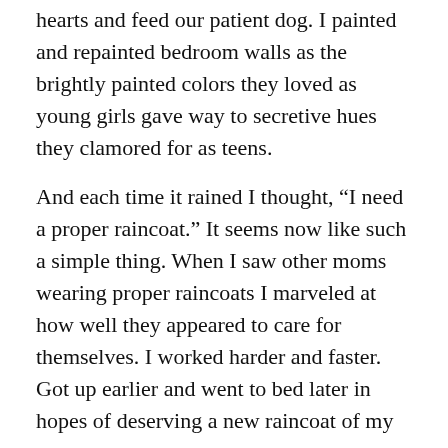hearts and feed our patient dog.  I painted and repainted bedroom walls as the brightly painted colors they loved as young girls gave way to secretive hues they clamored for as teens.
And each time it rained I thought, “I need a proper raincoat.”  It seems now like such a simple thing.  When I saw other moms wearing proper raincoats I marveled at how well they appeared to care for themselves.  I worked harder and faster.  Got up earlier and went to bed later in hopes of deserving a new raincoat of my own.
And now twenty five years after becoming a mother, my home is quiet.  My grown daughters are happy, smart and strong.  Will they remember nuggets of wisdom I tried to sprinkle in unnoticed?  Will they